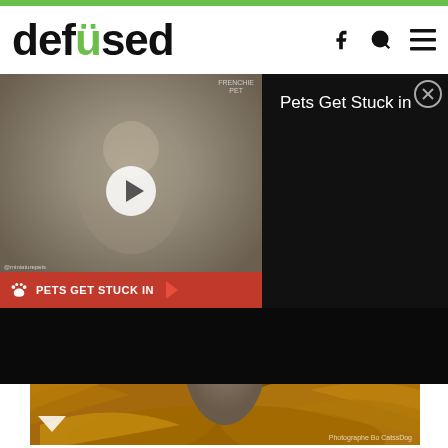defused
[Figure (screenshot): Website screenshot of defused.com showing logo, navigation icons (Facebook, Search, Menu), a video ad overlay for 'Pets Get Stuck in' with a thumbnail and close button, and a main article photo of a curly-haired grey dog in an autumn forest setting with golden ferns. Photo credit: Photographe Bo CatssDog]
Photographe Bo CatssDog